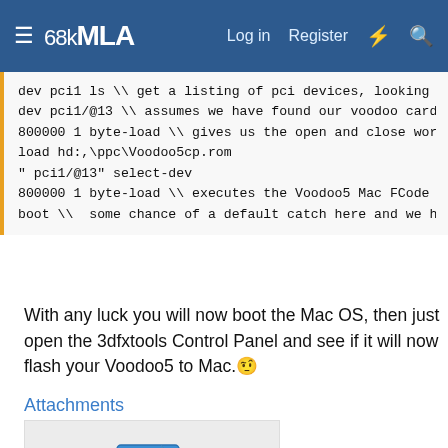68kMLA  Log in  Register
dev pci1 ls \\ get a listing of pci devices, looking
dev pci1/@13 \\ assumes we have found our voodoo card
800000 1 byte-load \\ gives us the open and close wor
load hd:,\ppc\Voodoo5cp.rom
" pci1/@13" select-dev
800000 1 byte-load \\ executes the Voodoo5 Mac FCode
boot \\  some chance of a default catch here and we h
With any luck you will now boot the Mac OS, then just open the 3dfxtools Control Panel and see if it will now flash your Voodoo5 to Mac.🤫
Attachments
[Figure (illustration): Attachment file icon showing a compressed/zip file with a checkerboard pattern on a document icon in blue and white]